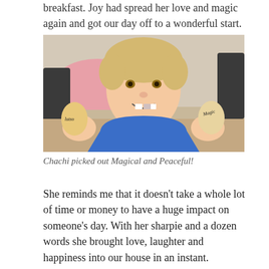breakfast. Joy had spread her love and magic again and got our day off to a wonderful start.
[Figure (photo): A young blonde boy smiling and holding up two eggs, one in each hand. The eggs have words written on them in marker. The left egg reads 'lutso' and the right egg reads 'Magic'. He is wearing a blue shirt. Background shows a dining room with a pink tablecloth.]
Chachi picked out Magical and Peaceful!
She reminds me that it doesn't take a whole lot of time or money to have a huge impact on someone's day. With her sharpie and a dozen words she brought love, laughter and happiness into our house in an instant.